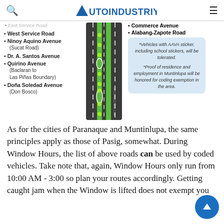AUTOINDUSTRIYA.COM
East Service Road (partially cut off at top)
West Service Road
Ninoy Aquino Avenue (Sucat Road)
Dr. A. Santos Avenue
Quirino Avenue (Baclaran to Las Piñas Boundary)
Doña Soledad Avenue (Don Bosco)
[Figure (infographic): Diagram of a road with green EDSA-style bike lane markings, dashed white lane lines on dark asphalt, shown from a top-down perspective.]
Commerce Avenue
Alabang-Zapote Road
*Vehicles with AAVA sticker, including school stickers, will be tolerated. *Proof of residence and employment in Muntinlupa will be honored for coding exemption in the area.
As for the cities of Paranaque and Muntinlupa, the same principles apply as those of Pasig, somewhat. During Window Hours, the list of above roads can be used by coded vehicles. Take note that, again, Window Hours only run from 10:00 AM - 3:00 so plan your routes accordingly. Getting caught jam when the Window is lifted does not exempt you